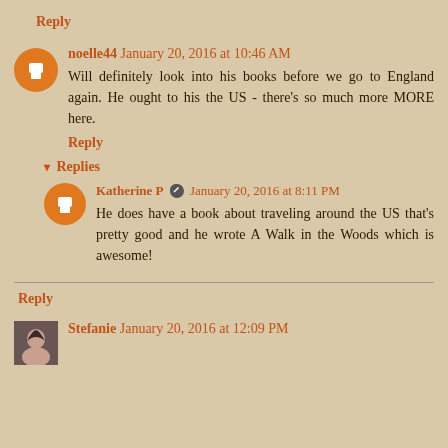Reply
noelle44 January 20, 2016 at 10:46 AM
Will definitely look into his books before we go to England again. He ought to his the US - there's so much more MORE here.
Reply
▾ Replies
Katherine P  January 20, 2016 at 8:11 PM
He does have a book about traveling around the US that's pretty good and he wrote A Walk in the Woods which is awesome!
Reply
Stefanie January 20, 2016 at 12:09 PM